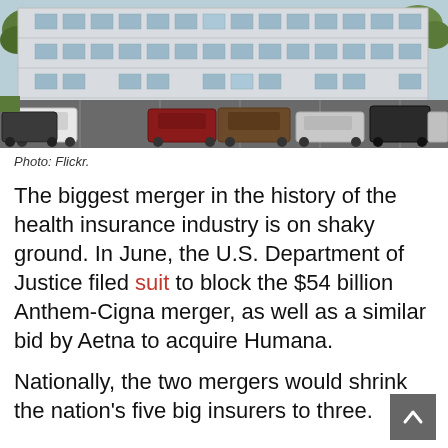[Figure (photo): Exterior photo of a large white multi-story building with a parking lot full of cars in the foreground. Trees visible on the edges. Photo credit: Flickr.]
Photo: Flickr.
The biggest merger in the history of the health insurance industry is on shaky ground. In June, the U.S. Department of Justice filed suit to block the $54 billion Anthem-Cigna merger, as well as a similar bid by Aetna to acquire Humana.
Nationally, the two mergers would shrink the nation’s five big insurers to three.